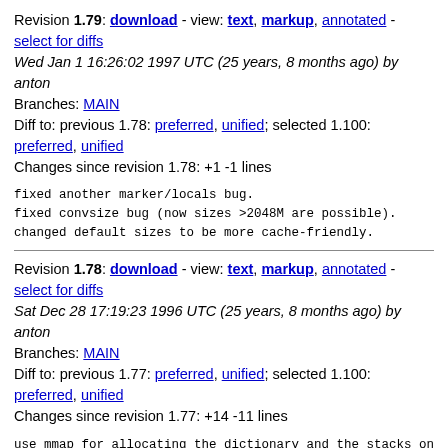Revision 1.79: download - view: text, markup, annotated - select for diffs
Wed Jan 1 16:26:02 1997 UTC (25 years, 8 months ago) by anton
Branches: MAIN
Diff to: previous 1.78: preferred, unified; selected 1.100: preferred, unified
Changes since revision 1.78: +1 -1 lines
fixed another marker/locals bug.
fixed convsize bug (now sizes >2048M are possible).
changed default sizes to be more cache-friendly.
Revision 1.78: download - view: text, markup, annotated - select for diffs
Sat Dec 28 17:19:23 1996 UTC (25 years, 8 months ago) by anton
Branches: MAIN
Diff to: previous 1.77: preferred, unified; selected 1.100: preferred, unified
Changes since revision 1.77: +14 -11 lines
use mmap for allocating the dictionary and the stacks on
added installdirs target to Makefile.in.
Use mkinstalldirs instead of install-sh -d.
added version-stamp to avoid recompiling everything after
mostly fixed the maiming of words containing '/' in TAGS
added options --clear-dictionary and --debug.